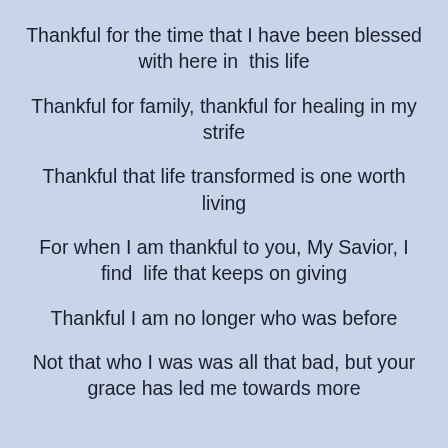Thankful for the time that I have been blessed with here in  this life
Thankful for family, thankful for healing in my strife
Thankful that life transformed is one worth living
For when I am thankful to you, My Savior, I find  life that keeps on giving
Thankful I am no longer who was before
Not that who I was was all that bad, but your grace has led me towards more